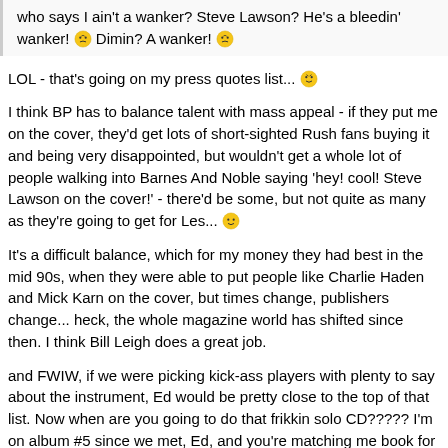who says I ain't a wanker? Steve Lawson? He's a bleedin' wanker! 🙃 Dimin? A wanker! 🙃
LOL - that's going on my press quotes list... 🤨
I think BP has to balance talent with mass appeal - if they put me on the cover, they'd get lots of short-sighted Rush fans buying it and being very disappointed, but wouldn't get a whole lot of people walking into Barnes And Noble saying 'hey! cool! Steve Lawson on the cover!' - there'd be some, but not quite as many as they're going to get for Les... 🙂
It's a difficult balance, which for my money they had best in the mid 90s, when they were able to put people like Charlie Haden and Mick Karn on the cover, but times change, publishers change... heck, the whole magazine world has shifted since then. I think Bill Leigh does a great job.
and FWIW, if we were picking kick-ass players with plenty to say about the instrument, Ed would be pretty close to the top of that list. Now when are you going to do that frikkin solo CD????? I'm on album #5 since we met, Ed, and you're matching me book for